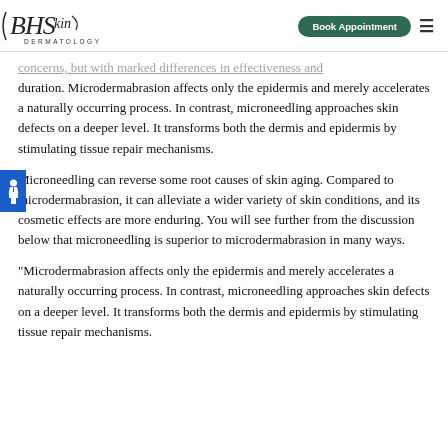BHSkin Dermatology — Book Appointment
concerns, but with marked differences in effectiveness and duration. Microdermabrasion affects only the epidermis and merely accelerates a naturally occurring process. In contrast, microneedling approaches skin defects on a deeper level. It transforms both the dermis and epidermis by stimulating tissue repair mechanisms.
Microneedling can reverse some root causes of skin aging. Compared to microdermabrasion, it can alleviate a wider variety of skin conditions, and its cosmetic effects are more enduring. You will see further from the discussion below that microneedling is superior to microdermabrasion in many ways.
"Microdermabrasion affects only the epidermis and merely accelerates a naturally occurring process. In contrast, microneedling approaches skin defects on a deeper level. It transforms both the dermis and epidermis by stimulating tissue repair mechanisms."